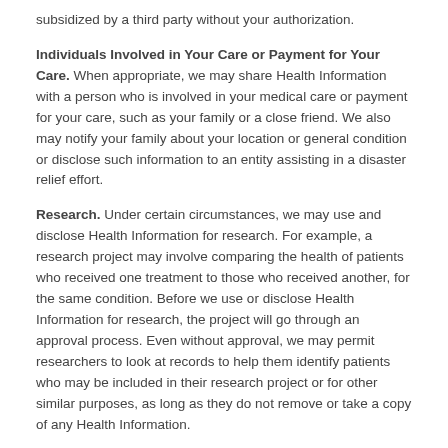subsidized by a third party without your authorization.
Individuals Involved in Your Care or Payment for Your Care. When appropriate, we may share Health Information with a person who is involved in your medical care or payment for your care, such as your family or a close friend. We also may notify your family about your location or general condition or disclose such information to an entity assisting in a disaster relief effort.
Research. Under certain circumstances, we may use and disclose Health Information for research. For example, a research project may involve comparing the health of patients who received one treatment to those who received another, for the same condition. Before we use or disclose Health Information for research, the project will go through an approval process. Even without approval, we may permit researchers to look at records to help them identify patients who may be included in their research project or for other similar purposes, as long as they do not remove or take a copy of any Health Information.
Fundraising and Marketing. Health Information may be used for